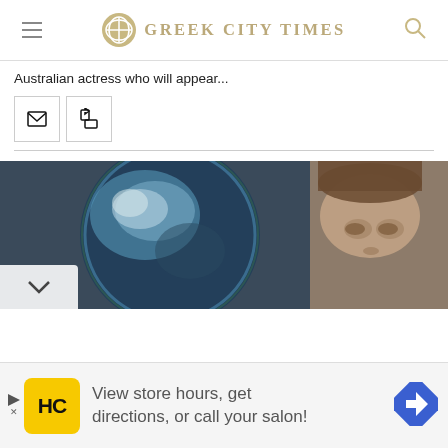GREEK CITY TIMES
Australian actress who will appear...
[Figure (photo): Photo of a man (Elon Musk) in front of a blurred globe/Earth image on dark background]
[Figure (infographic): Advertisement banner: HC logo (yellow square), text 'View store hours, get directions, or call your salon!', blue navigation arrow icon]